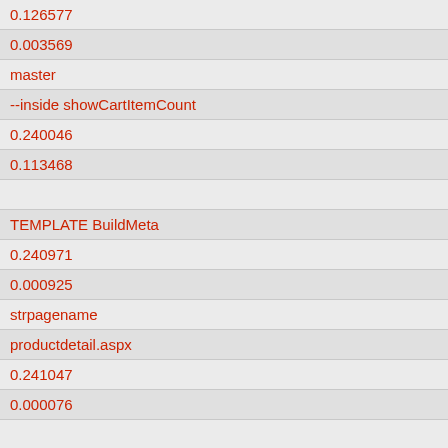| 0.126577 |
| 0.003569 |
| master |
| --inside showCartItemCount |
| 0.240046 |
| 0.113468 |
|  |
| TEMPLATE BuildMeta |
| 0.240971 |
| 0.000925 |
| strpagename |
| productdetail.aspx |
| 0.241047 |
| 0.000076 |
|  |
|  |
| 0.241658 |
| 0.000611 |